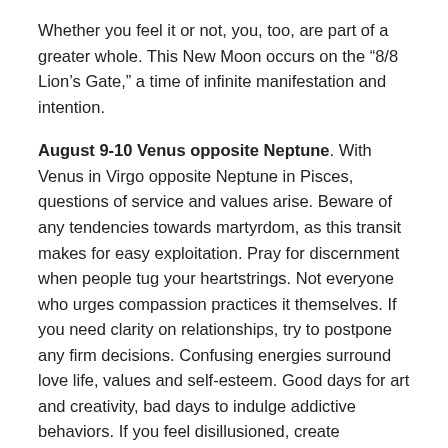Whether you feel it or not, you, too, are part of a greater whole. This New Moon occurs on the “8/8 Lion’s Gate,” a time of infinite manifestation and intention.
August 9-10 Venus opposite Neptune. With Venus in Virgo opposite Neptune in Pisces, questions of service and values arise. Beware of any tendencies towards martyrdom, as this transit makes for easy exploitation. Pray for discernment when people tug your heartstrings. Not everyone who urges compassion practices it themselves. If you need clarity on relationships, try to postpone any firm decisions. Confusing energies surround love life, values and self-esteem. Good days for art and creativity, bad days to indulge addictive behaviors. If you feel disillusioned, create something beautiful instead of wallowing in disappointment. Allow harmony and transcendence to wash over you. In its highest expression